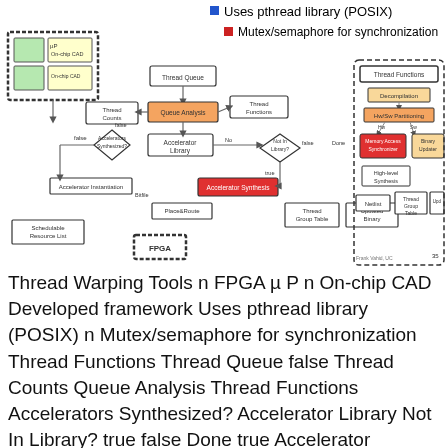Uses pthread library (POSIX)
Mutex/semaphore for synchronization
[Figure (flowchart): Thread Warping Tools flowchart showing Thread Queue, Queue Analysis, Thread Functions, Accelerator Library, Not In Library decision, Accelerator Synthesis, Thread Group Table, Updated Binary, Place&Route, FPGA, Schedulable Resource List, Accelerator Instantiation, Decompilation, Hw/Sw Partitioning, Memory Access Synchronization, Binary Updater, High-level Synthesis, Netlist, Thread Group Table, Updated Binary nodes. Also shows µP and On-chip CAD chip diagram in top-left.]
Thread Warping Tools n FPGA µ P n On-chip CAD Developed framework Uses pthread library (POSIX) n Mutex/semaphore for synchronization Thread Functions Thread Queue false Thread Counts Queue Analysis Thread Functions Accelerators Synthesized? Accelerator Library Not In Library? true false Done true Accelerator Instantiation Bitfile Place&Route Schedulable Resource List Decompilation FPGA Netlist Accelerator Synthesis Thread Group Table Updated Binary Hw/Sw Partitioning Hw Memory Access